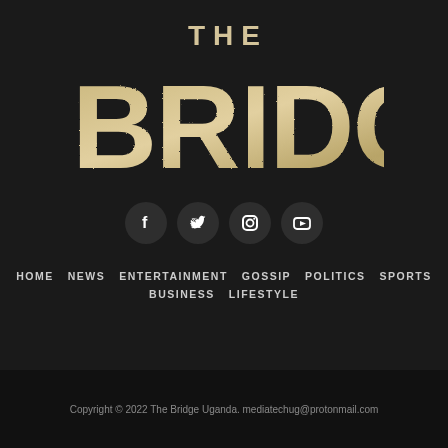[Figure (logo): The Bridge Uganda logo — large distressed/textured display type reading THE BRIDGE on dark background]
[Figure (infographic): Four social media icon buttons: Facebook, Twitter, Instagram, YouTube — white icons on dark circular backgrounds]
HOME   NEWS   ENTERTAINMENT   GOSSIP   POLITICS   SPORTS   BUSINESS   LIFESTYLE
Copyright © 2022 The Bridge Uganda. mediatechug@protonmail.com